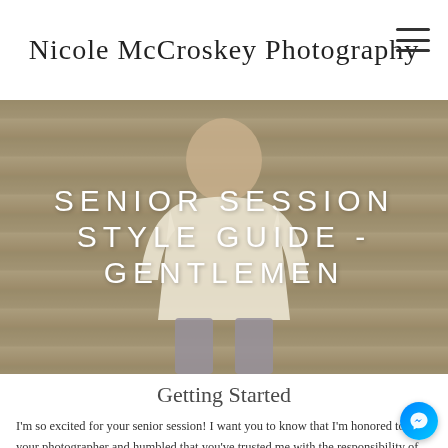Nicole McCroskey Photography
[Figure (photo): Young man with short hair sitting on wooden bleacher steps, wearing a cream knit sweater and gray pants, smiling. The background shows wooden bleacher planks.]
SENIOR SESSION STYLE GUIDE - GENTLEMEN
Getting Started
I'm so excited for your senior session! I want you to know that I'm honored to be your photographer and humbled that you've trusted me with the responsibility of helping you